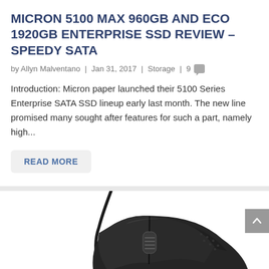MICRON 5100 MAX 960GB AND ECO 1920GB ENTERPRISE SSD REVIEW – SPEEDY SATA
by Allyn Malventano | Jan 31, 2017 | Storage | 9
Introduction: Micron paper launched their 5100 Series Enterprise SATA SSD lineup early last month. The new line promised many sought after features for such a part, namely high...
READ MORE
[Figure (photo): Photo of a black gaming mouse with a USB cable, shown from a slightly elevated angle. The mouse has a scroll wheel, side buttons, and a subtle blue/teal RGB light glow at the base. The background is white.]